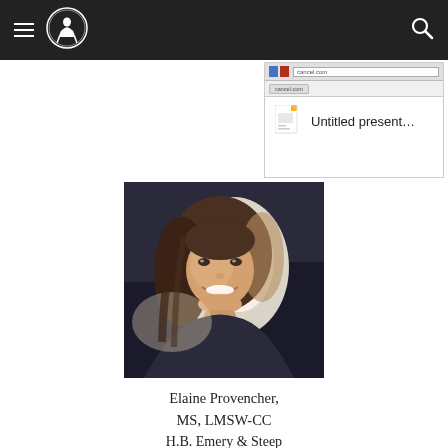Navigation header with hamburger menu, logo, and search icon
[Figure (screenshot): Screenshot of a browser window showing a Google Slides document titled 'Untitled present...' with document icon]
[Figure (photo): Portrait photo of Elaine Provencher, a woman with long brown hair, smiling, seated indoors]
Elaine Provencher, MS, LMSW-CC
H.B. Emery & Steep